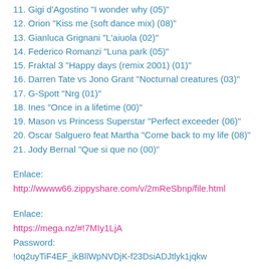11. Gigi d'Agostino "I wonder why (05)"
12. Orion "Kiss me (soft dance mix) (08)"
13. Gianluca Grignani "L'aiuola (02)"
14. Federico Romanzi "Luna park (05)"
15. Fraktal 3 "Happy days (remix 2001) (01)"
16. Darren Tate vs Jono Grant "Nocturnal creatures (03)"
17. G-Spott "Nrg (01)"
18. Ines "Once in a lifetime (00)"
19. Mason vs Princess Superstar "Perfect exceeder (06)"
20. Oscar Salguero feat Martha "Come back to my life (08)"
21. Jody Bernal "Que si que no (00)"
Enlace:
http://wwww66.zippyshare.com/v/2mReSbnp/file.html
Enlace:
https://mega.nz/#!7MIy1LjA
Password:
!oq2uyTiF4EF_ikBllWpNVDjK-f23DsiADJtlyk1jqkw